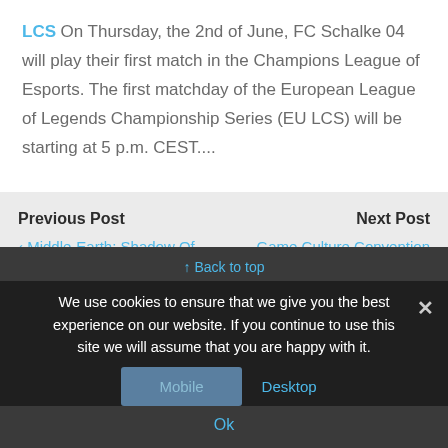LCS On Thursday, the 2nd of June, FC Schalke 04 will play their first match in the Champions League of Esports. The first matchday of the European League of Legends Championship Series (EU LCS) will be starting at 5 p.m. CEST....
Previous Post
‹ Middle-Earth: Shadow Of War VO Cast And San Diego Comic-Con Panel Revealed
Next Post
Game Culture Convention Cruise And Expo 2018 ›
↑ Back to top
We use cookies to ensure that we give you the best experience on our website. If you continue to use this site we will assume that you are happy with it.
Mobile
Desktop
Ok